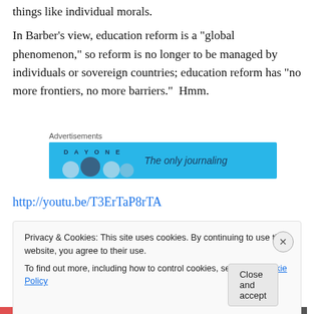things like individual morals.
In Barber’s view, education reform is a “global phenomenon,” so reform is no longer to be managed by individuals or sovereign countries; education reform has “no more frontiers, no more barriers.”  Hmm.
[Figure (screenshot): Advertisement banner: Day One journaling app ad with blue background, circles graphic and text 'The only journaling']
http://youtu.be/T3ErTaP8rTA
Barber shows a chart during his summit speech, displayed
Privacy & Cookies: This site uses cookies. By continuing to use this website, you agree to their use.
To find out more, including how to control cookies, see here: Cookie Policy
Close and accept